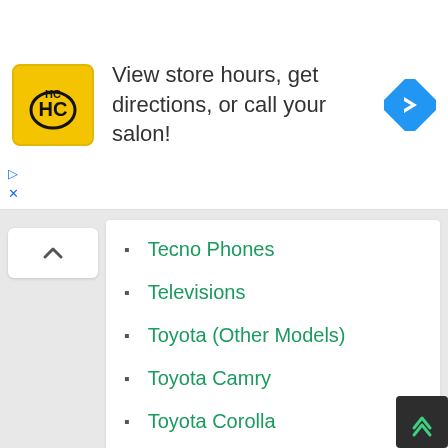[Figure (logo): HC logo — yellow rounded square with HC letters in black, stylized]
View store hours, get directions, or call your salon!
[Figure (illustration): Blue diamond-shaped navigation/directions arrow icon]
Tecno Phones
Televisions
Toyota (Other Models)
Toyota Camry
Toyota Corolla
Toyota Highlander
Vehicles
Visa
Washing Machines
Watches
Xiaomi Phones